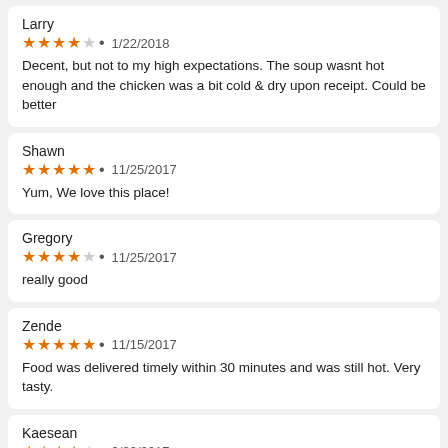Larry
★★★★☆ • 1/22/2018
Decent, but not to my high expectations. The soup wasnt hot enough and the chicken was a bit cold & dry upon receipt. Could be better
Shawn
★★★★★ • 11/25/2017
Yum, We love this place!
Gregory
★★★★☆ • 11/25/2017
really good
Zende
★★★★★ • 11/15/2017
Food was delivered timely within 30 minutes and was still hot. Very tasty.
Kaesean
★★★★☆ • 9/29/2017
Our food was delicious but TS needs better customer service . I've had several issues with ordering, to include this one. He called to tell me that we couldn't have the shrimp added to the meal because "I don't know, but the price is wrong on the site and you need to pay more!" Get your stuff on your menu right TS and don't